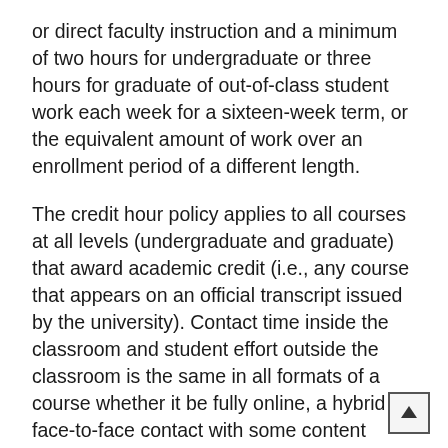or direct faculty instruction and a minimum of two hours for undergraduate or three hours for graduate of out-of-class student work each week for a sixteen-week term, or the equivalent amount of work over an enrollment period of a different length.
The credit hour policy applies to all courses at all levels (undergraduate and graduate) that award academic credit (i.e., any course that appears on an official transcript issued by the university). Contact time inside the classroom and student effort outside the classroom is the same in all formats of a course whether it be fully online, a hybrid of face-to-face contact with some content delivered by electronic means, or one delivered in lecture format. Courses that have less structured classroom schedules, such as online work, study abroad, research, guided study